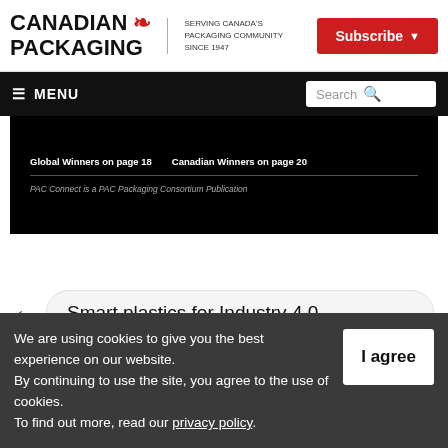CANADIAN PACKAGING – SERVING CANADA'S PACKAGING COMMUNITY SINCE 1947 | Subscribe
≡ MENU | Search
[Figure (screenshot): Black magazine page snippet showing 'Global Winners on page 18  Canadian Winners on page 20' and 'PAC Connect is a PAC Packaging Consortium Publication']
← Smart plastics for Industry 4.0
We are using cookies to give you the best experience on our website. By continuing to use the site, you agree to the use of cookies. To find out more, read our privacy policy.